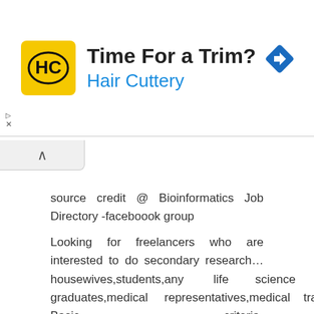[Figure (screenshot): Advertisement banner for Hair Cuttery with logo, text 'Time For a Trim? Hair Cuttery', and a blue navigation arrow icon on the right.]
source credit @ Bioinformatics Job Directory -faceboook group
Looking for freelancers who are interested to do secondary research…housewives,students,any life science graduates,medical representatives,medical transcriptors. Basic criteria-life science graduate,computer& internet facility,ready to work 6hrs a day. If interested please send ur contact details at aarti.pabbi@d2lpharma.com
source credit @ CLINICAL RESEARCH PROFESSIONAL & MBA HEALTH CARE(HUM log)-faceboook group